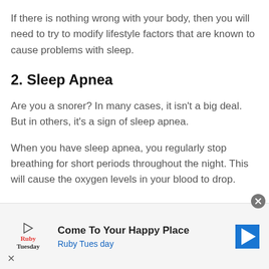If there is nothing wrong with your body, then you will need to try to modify lifestyle factors that are known to cause problems with sleep.
2. Sleep Apnea
Are you a snorer? In many cases, it isn't a big deal. But in others, it's a sign of sleep apnea.
When you have sleep apnea, you regularly stop breathing for short periods throughout the night. This will cause the oxygen levels in your blood to drop.
[Figure (other): Advertisement banner for Ruby Tuesday restaurant. Text reads 'Come To Your Happy Place' and 'Ruby Tuesday' with logo and navigation arrow icon. Has close (X) button.]